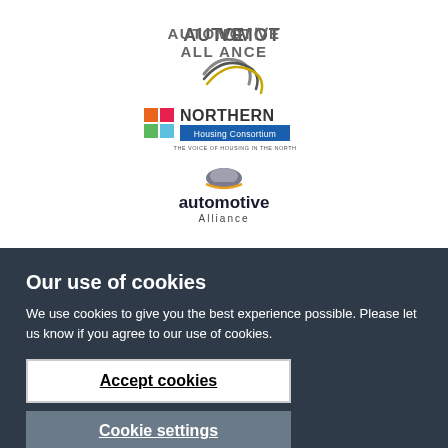[Figure (logo): North East Automotive Alliance logo with stylized yellow swoosh graphic]
[Figure (logo): Northern Housing Consortium logo with colorful squares and blue banner]
[Figure (logo): Northern Automotive Alliance logo with helmet icon]
Our use of cookies
We use cookies to give you the best experience possible. Please let us know if you agree to our use of cookies.
Accept cookies
Cookie settings